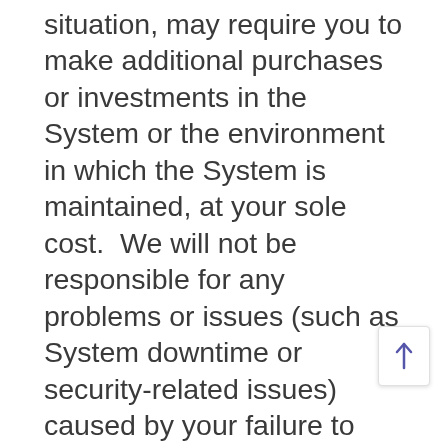situation, may require you to make additional purchases or investments in the System or the environment in which the System is maintained, at your sole cost.  We will not be responsible for any problems or issues (such as System downtime or security-related issues) caused by your failure to promptly follow our advice or directions.  If your failure to follow or implement our advice renders part or all of the Services economically or technically unreasonable to provide in our discretion, then we may terminate the Services Agreement for cause by providing notice of termination to you.  Unless specifically and expressly stated in these Te‑‑‑‑ any services required to remediate issues caused‑ our failure to follow IRIS' advice or directions, or your